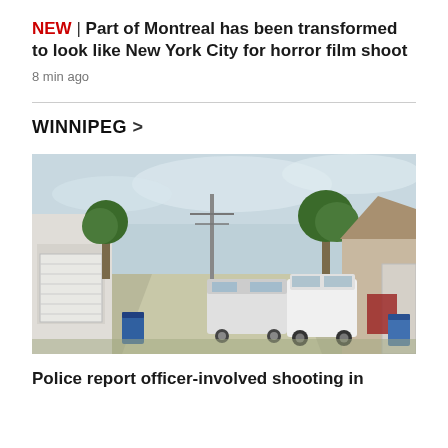NEW | Part of Montreal has been transformed to look like New York City for horror film shoot
8 min ago
WINNIPEG >
[Figure (photo): Residential back alley with garages, parked white vans and trucks, blue recycling bins, houses, trees, and overcast sky]
Police report officer-involved shooting in